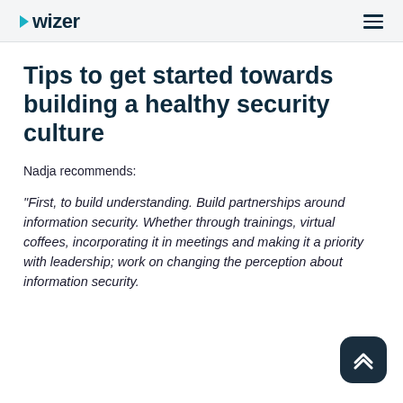Wizer
Tips to get started towards building a healthy security culture
Nadja recommends:
"First, to build understanding. Build partnerships around information security. Whether through trainings, virtual coffees, incorporating it in meetings and making it a priority with leadership; work on changing the perception about information security.